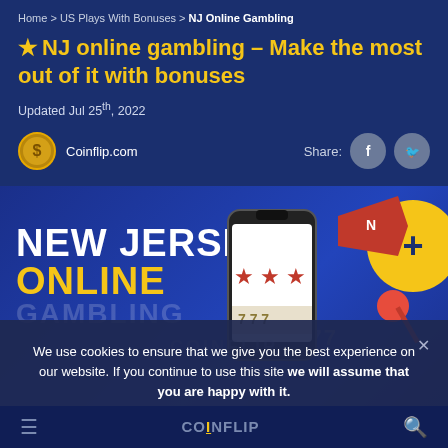Home > US Plays With Bonuses > NJ Online Gambling
★ NJ online gambling – Make the most out of it with bonuses
Updated Jul 25th, 2022
Coinflip.com   Share:
[Figure (illustration): Banner image showing NEW JERSEY ONLINE GAMBLING text with a smartphone displaying slot stars and casino graphics]
We use cookies to ensure that we give you the best experience on our website. If you continue to use this site we will assume that you are happy with it.
≡   CO FLIP   🔍